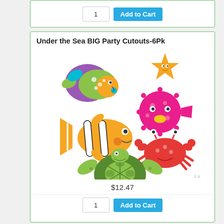[Figure (other): Add to Cart button strip with quantity box showing '1' and blue 'Add to Cart' button]
Under the Sea BIG Party Cutouts-6Pk
[Figure (illustration): Cartoon sea creatures: colorful tropical fish, orange starfish, pink puffer fish, clownfish, red crab, green sea turtle]
$12.47
[Figure (other): Add to Cart button strip with quantity box showing '1' and blue 'Add to Cart' button (partial, bottom of page)]